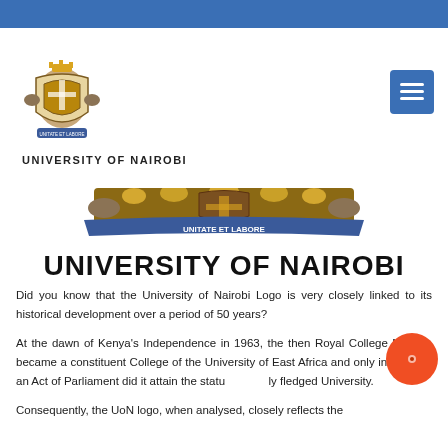[Figure (logo): University of Nairobi coat of arms logo with text 'UNIVERSITY OF NAIROBI' below]
[Figure (logo): University of Nairobi banner with coat of arms bottom portion showing 'UNITATE ET LABORE' motto ribbon and large bold text 'UNIVERSITY OF NAIROBI']
Did you know that the University of Nairobi Logo is very closely linked to its historical development over a period of 50 years?
At the dawn of Kenya's Independence in 1963, the then Royal College Nairobi, became a constituent College of the University of East Africa and only in 1970 by an Act of Parliament did it attain the status of a fully fledged University.
Consequently, the UoN logo, when analysed, closely reflects the